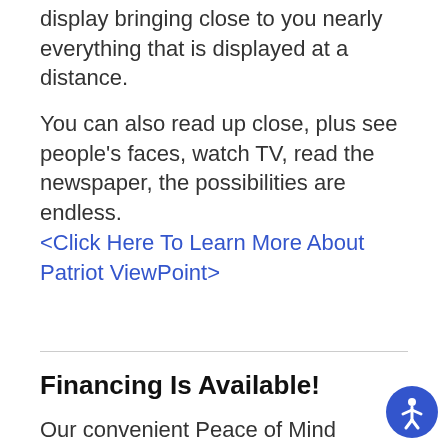display bringing close to you nearly everything that is displayed at a distance.
You can also read up close, plus see people's faces, watch TV, read the newspaper, the possibilities are endless. <Click Here To Learn More About Patriot ViewPoint>
Financing Is Available!
Our convenient Peace of Mind financing options makes these products affordabl with a low monthly payment. In addition,